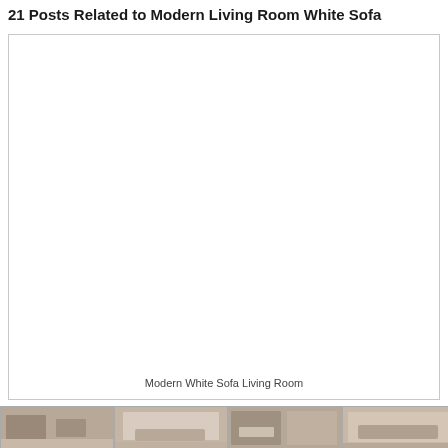21 Posts Related to Modern Living Room White Sofa
[Figure (photo): Large white/blank image box with caption 'Modern White Sofa Living Room' at bottom center]
Modern White Sofa Living Room
[Figure (photo): Row of four thumbnail images of living rooms with white sofas at the bottom of the page]